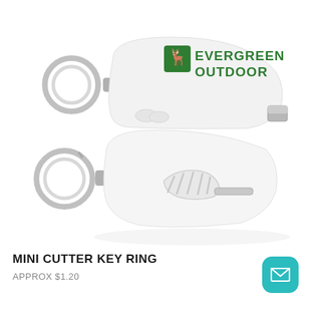[Figure (photo): Two white mini cutter key rings shown front and back. The front/top one shows the blade-end and has an Evergreen Outdoor logo (green deer icon and green text reading EVERGREEN OUTDOOR) printed on it, with a silver key ring and exposed silver blade tip. The bottom one shows the back side with a white slider mechanism and silver key ring.]
MINI CUTTER KEY RING
APPROX $1.20